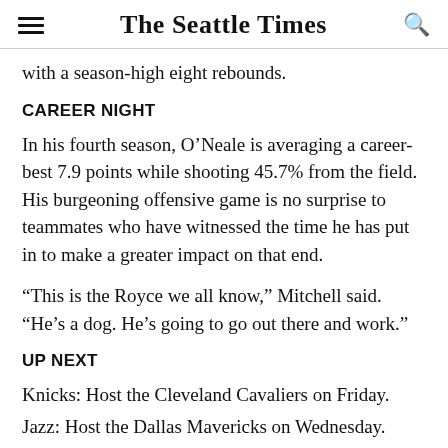The Seattle Times
with a season-high eight rebounds.
CAREER NIGHT
In his fourth season, O’Neale is averaging a career-best 7.9 points while shooting 45.7% from the field. His burgeoning offensive game is no surprise to teammates who have witnessed the time he has put in to make a greater impact on that end.
“This is the Royce we all know,” Mitchell said. “He’s a dog. He’s going to go out there and work.”
UP NEXT
Knicks: Host the Cleveland Cavaliers on Friday.
Jazz: Host the Dallas Mavericks on Wednesday.